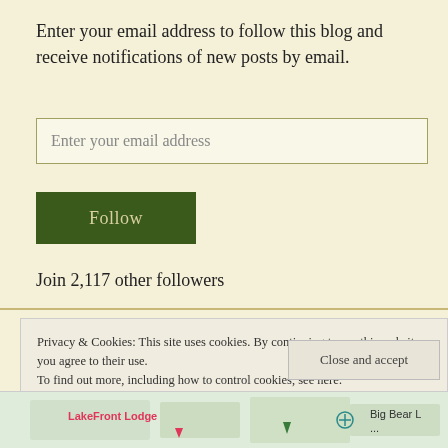Enter your email address to follow this blog and receive notifications of new posts by email.
Enter your email address
Follow
Join 2,117 other followers
Privacy & Cookies: This site uses cookies. By continuing to use this website, you agree to their use.
To find out more, including how to control cookies, see here: Cookie Policy
Close and accept
[Figure (map): Partial map showing LakeFront Lodge label in pink with map pins and Big Bear L... text]